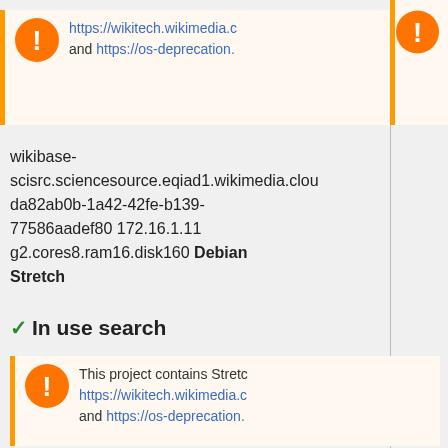[Figure (infographic): Warning box with orange exclamation icon and truncated links to wikitech.wikimedia and os-deprecation]
wikibase-scisrc.sciencesource.eqiad1.wikimedia.cloud da82ab0b-1a42-42fe-b139-77586aadef80 172.16.1.11 g2.cores8.ram16.disk160 Debian Stretch
✓ In use search
[Figure (infographic): Warning box with orange exclamation icon and truncated links to wikitech.wikimedia and os-deprecation, with text: This project contains Stretch]
maryum-analytics-test.search.eqiad1.wikimedia.cloud ca5ada57-dc76-48c6-8dc5-c805a5f5d006 172.16.4.14